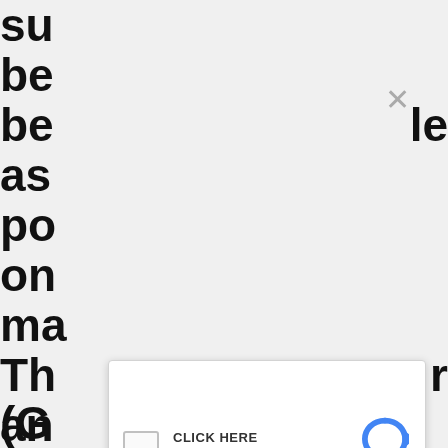[Figure (screenshot): A webpage partially visible behind a modal overlay. On the left side, large bold partial text fragments are visible: 'su', 'be', 'be', 'as', 'po', 'on', 'ma', 'Th', 'an', '(G', 'so', 'th', 'to', 'en', 'be', 'in', 'pr'. On the right side partial letters: 'le', 'r', 'ts', 'g', 'e'. An X close button appears in the upper right. A reCAPTCHA widget overlays the center showing 'CLICK HERE / I'm not a robot' with a checkbox and Google reCAPTCHA logo, Privacy and Terms links.]